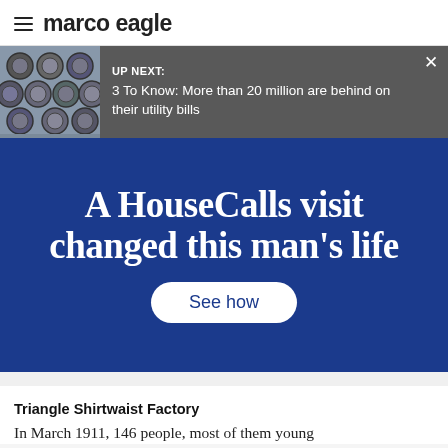marco eagle
UP NEXT: 3 To Know: More than 20 million are behind on their utility bills
[Figure (infographic): Advertisement banner with dark blue background showing bold white text: 'A HouseCalls visit changed this man's life' with a white pill-shaped button labeled 'See how']
Triangle Shirtwaist Factory
In March 1911, 146 people, most of them young